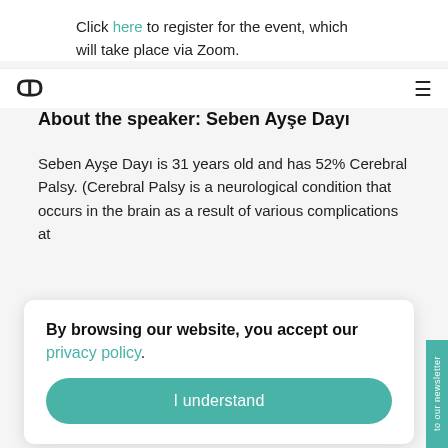Click here to register for the event, which will take place via Zoom.
Navigation bar with logo and menu icon
About the speaker: Seben Ayşe Dayı
Seben Ayşe Dayı is 31 years old and has 52% Cerebral Palsy. (Cerebral Palsy is a neurological condition that occurs in the brain as a result of various complications at
By browsing our website, you accept our privacy policy.
I understand
graduated from the Journalism department of Yeditepе University. She later completed